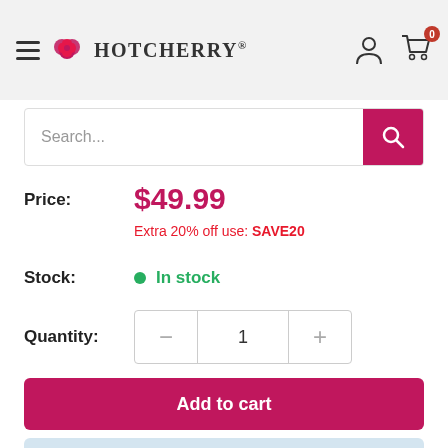HotCherry®
Search...
Price: $49.99
Extra 20% off use: SAVE20
Stock: In stock
Quantity: 1
Add to cart
Buy it now